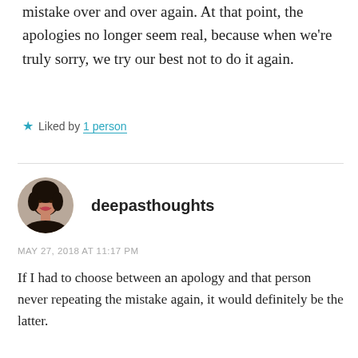mistake over and over again. At that point, the apologies no longer seem real, because when we're truly sorry, we try our best not to do it again.
★ Liked by 1 person
[Figure (photo): Circular avatar photo of a woman with dark hair smiling, wearing a dark top.]
deepasthoughts
MAY 27, 2018 AT 11:17 PM
If I had to choose between an apology and that person never repeating the mistake again, it would definitely be the latter.